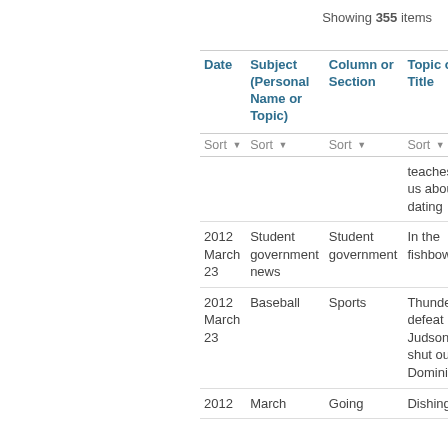Showing 355 items
| Date | Subject (Personal Name or Topic) | Column or Section | Topic or Title |
| --- | --- | --- | --- |
|  |  |  | teaches us about dating |
| 2012 March 23 | Student government news | Student government | In the fishbowl |
| 2012 March 23 | Baseball | Sports | Thunder defeat Judson, shut out Dominican |
| 2012 | March | Going | Dishing |